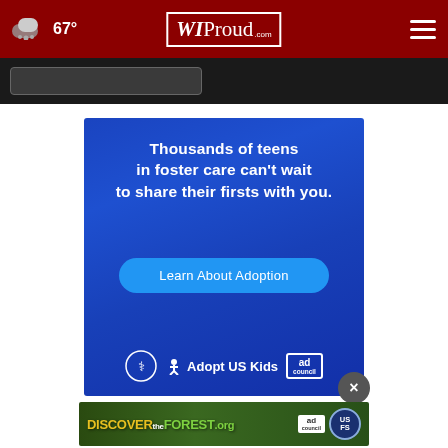WIProud.com — 67° weather — navigation header
[Figure (screenshot): WIProud.com website header with dark red background, cloud/67° weather icon on left, WIProud logo in center, hamburger menu icon on right]
[Figure (infographic): Adopt US Kids adoption advertisement banner with blue wood-grain background. Text: Thousands of teens in foster care can't wait to share their firsts with you. Button: Learn About Adoption. Logos: HHS eagle, Adopt US Kids figure, Ad Council box.]
[Figure (infographic): Discover the Forest .org banner ad with forest background, ad council and USDA Forest Service logos.]